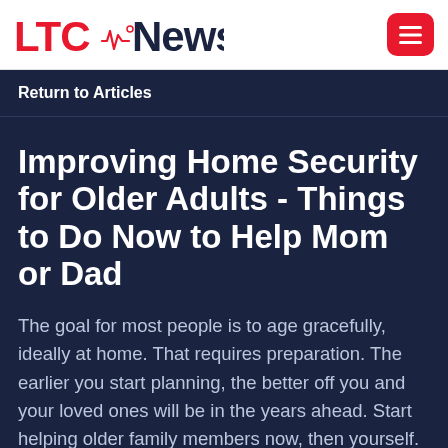LTC News
Return to Articles
Improving Home Security for Older Adults - Things to Do Now to Help Mom or Dad
The goal for most people is to age gracefully, ideally at home. That requires preparation. The earlier you start planning, the better off you and your loved ones will be in the years ahead. Start helping older family members now, then yourself.